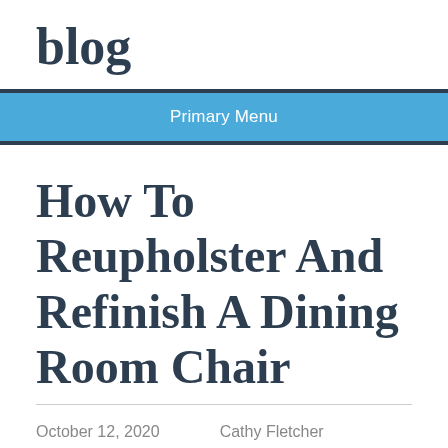blog
Primary Menu
How To Reupholster And Refinish A Dining Room Chair
October 12, 2020    Cathy Fletcher
License plates and license plate frames have been